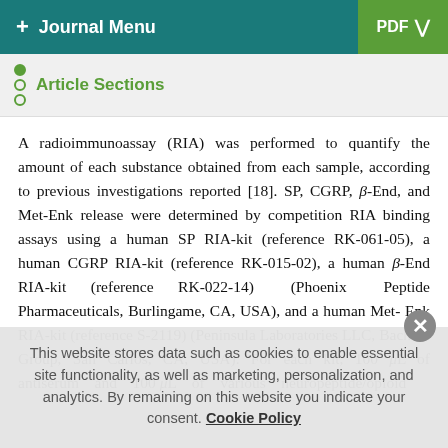+ Journal Menu  PDF ↓
Article Sections
A radioimmunoassay (RIA) was performed to quantify the amount of each substance obtained from each sample, according to previous investigations reported [18]. SP, CGRP, β-End, and Met-Enk release were determined by competition RIA binding assays using a human SP RIA-kit (reference RK-061-05), a human CGRP RIA-kit (reference RK-015-02), a human β-End RIA-kit (reference RK-022-14) (Phoenix Peptide Pharmaceuticals, Burlingame, CA, USA), and a human Met-Enk RIA-kit (reference S-2119) (Peninsula Laboratories LLC, Bachem Group, San Carlos, CA, USA). For each kit, 100 μL of antiserum and 100 μL of various neuropeptide/opioid
This website stores data such as cookies to enable essential site functionality, as well as marketing, personalization, and analytics. By remaining on this website you indicate your consent. Cookie Policy